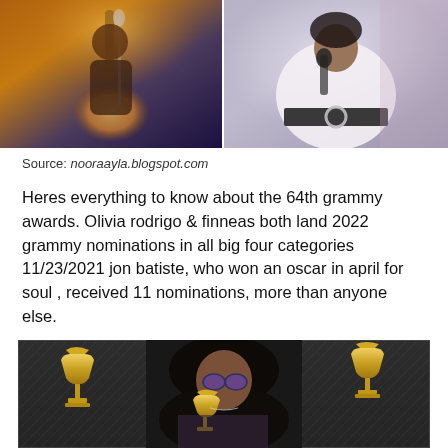[Figure (photo): Two side-by-side photos: left shows a musician playing acoustic guitar on stage with warm amber lighting; right shows a singer in a white cable-knit sweater with black belt holding a microphone]
Source: nooraayla.blogspot.com
Heres everything to know about the 64th grammy awards. Olivia rodrigo & finneas both land 2022 grammy nominations in all big four categories 11/23/2021 jon batiste, who won an oscar in april for soul , received 11 nominations, more than anyone else.
[Figure (photo): Photo of a woman with long dark hair wearing purple tinted sunglasses and holding Grammy award trophies, with Grammy award backdrops visible in the background]